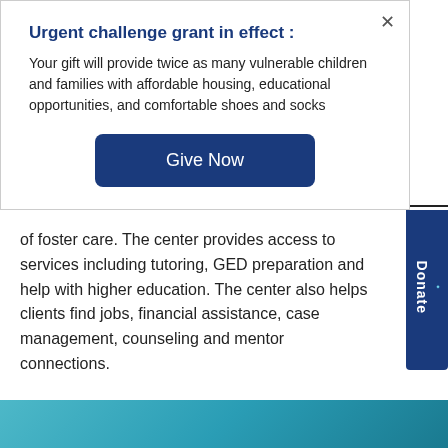Urgent challenge grant in effect :
Your gift will provide twice as many vulnerable children and families with affordable housing, educational opportunities, and comfortable shoes and socks
Give Now
of foster care. The center provides access to services including tutoring, GED preparation and help with higher education. The center also helps clients find jobs, financial assistance, case management, counseling and mentor connections.
Transform a life in Amarillo by volunteering through a Buckner ministry. See all the opportunities at our Volunteer Central.
[Figure (photo): Teal/aqua colored image strip at the bottom of the page]